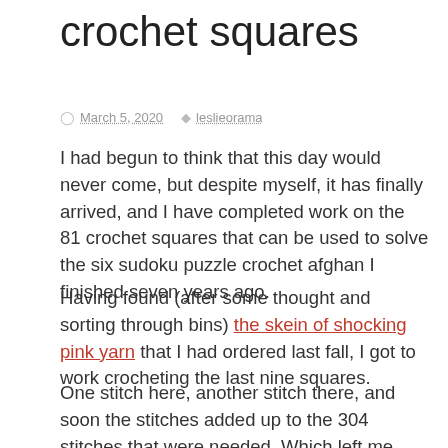crochet squares
March 5, 2020  leslieorama
I had begun to think that this day would never come, but despite myself, it has finally arrived, and I have completed work on the 81 crochet squares that can be used to solve the six sudoku puzzle crochet afghan I finished seven years ago.
Having found (after some thought and sorting through bins) the skein of shocking pink yarn that I had ordered last fall, I got to work crocheting the last nine squares.
One stitch here, another stitch there, and soon the stitches added up to the 304 stitches that were needed. Which left me with 9 more squares and 18 ends to weave in.